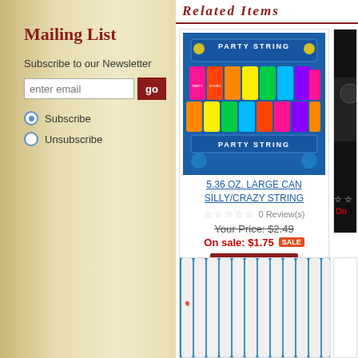Mailing List
Subscribe to our Newsletter
enter email
Subscribe
Unsubscribe
Related Items
[Figure (photo): Display box of Party String / Silly/Crazy String colorful cans in blue box]
5.36 OZ. LARGE CAN SILLY/CRAZY STRING
0 Review(s)
Your Price: $2.49
On sale: $1.75 SALE
Add To Cart
[Figure (photo): Partially visible product image with blue background showing pencil-like items]